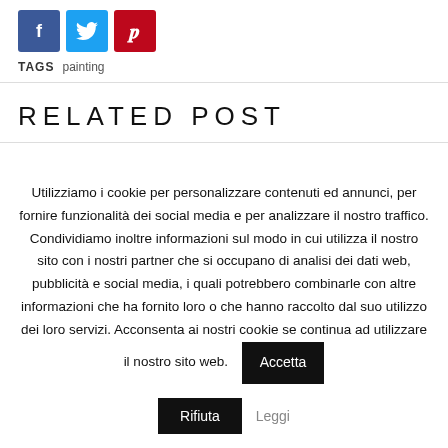[Figure (other): Social sharing buttons: Facebook (blue), Twitter (light blue), Pinterest (red)]
TAGS  painting
RELATED POST
Utilizziamo i cookie per personalizzare contenuti ed annunci, per fornire funzionalità dei social media e per analizzare il nostro traffico. Condividiamo inoltre informazioni sul modo in cui utilizza il nostro sito con i nostri partner che si occupano di analisi dei dati web, pubblicità e social media, i quali potrebbero combinarle con altre informazioni che ha fornito loro o che hanno raccolto dal suo utilizzo dei loro servizi. Acconsenta ai nostri cookie se continua ad utilizzare il nostro sito web.
Accetta
Rifiuta
Leggi